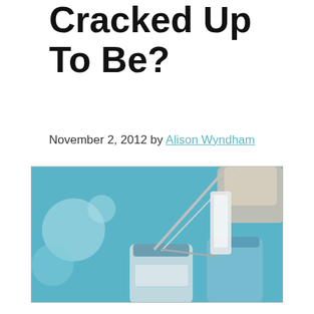Cracked Up To Be?
November 2, 2012 by Alison Wyndham
[Figure (photo): A syringe inserting into a vaccine vial, with additional vials in the background on a blue blurred background.]
It’s the time of year when everyone, especially the elderly and those more prone to illness are being told to go and get their flu vaccine to protect them against the flu. But does it really protect us, or are the side effects outweighing any benefits (if there are